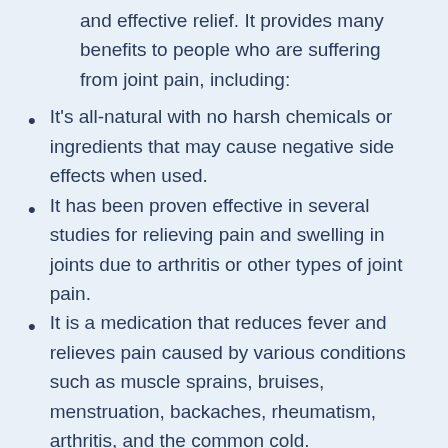and effective relief. It provides many benefits to people who are suffering from joint pain, including:
It's all-natural with no harsh chemicals or ingredients that may cause negative side effects when used.
It has been proven effective in several studies for relieving pain and swelling in joints due to arthritis or other types of joint pain.
It is a medication that reduces fever and relieves pain caused by various conditions such as muscle sprains, bruises, menstruation, backaches, rheumatism, arthritis, and the common cold.
Flexotone Joint Pain has been sold for